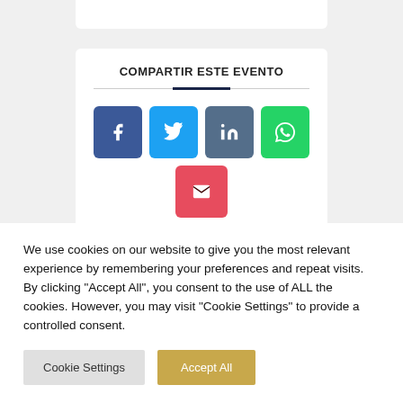COMPARTIR ESTE EVENTO
[Figure (infographic): Social sharing buttons: Facebook (blue), Twitter (light blue), LinkedIn (slate blue), WhatsApp (green), Email (red/pink)]
We use cookies on our website to give you the most relevant experience by remembering your preferences and repeat visits. By clicking "Accept All", you consent to the use of ALL the cookies. However, you may visit "Cookie Settings" to provide a controlled consent.
Cookie Settings | Accept All